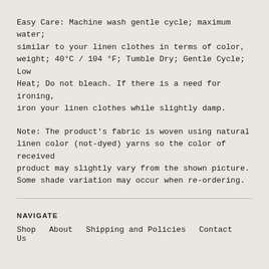Easy Care: Machine wash gentle cycle; maximum water; similar to your linen clothes in terms of color, weight; 40°C / 104 °F; Tumble Dry; Gentle Cycle; Low Heat; Do not bleach. If there is a need for ironing, iron your linen clothes while slightly damp.
Note: The product's fabric is woven using natural linen color (not-dyed) yarns so the color of received product may slightly vary from the shown picture. Some shade variation may occur when re-ordering.
NAVIGATE
Shop   About   Shipping and Policies   Contact Us